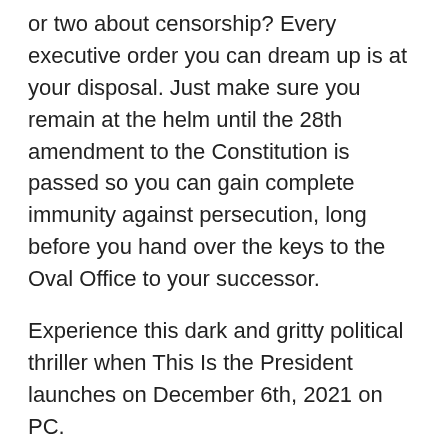or two about censorship? Every executive order you can dream up is at your disposal. Just make sure you remain at the helm until the 28th amendment to the Constitution is passed so you can gain complete immunity against persecution, long before you hand over the keys to the Oval Office to your successor.
Experience this dark and gritty political thriller when This Is the President launches on December 6th, 2021 on PC.
This Is the President on Steam:
https://store.steampowered.com/app/730430
Watch the trailer on YouTube:
https://youtu.be/9vihKD9CrLE
Download all assets: https://media.thqnordic.com/?